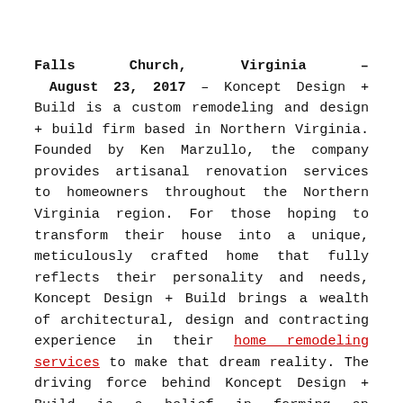Falls Church, Virginia – August 23, 2017 – Koncept Design + Build is a custom remodeling and design + build firm based in Northern Virginia. Founded by Ken Marzullo, the company provides artisanal renovation services to homeowners throughout the Northern Virginia region. For those hoping to transform their house into a unique, meticulously crafted home that fully reflects their personality and needs, Koncept Design + Build brings a wealth of architectural, design and contracting experience in their home remodeling services to make that dream reality. The driving force behind Koncept Design + Build is a belief in forming an emotional connection between the owner and the home, which is actualized by using their skills to bring to life the vision of the homeowner for their space.